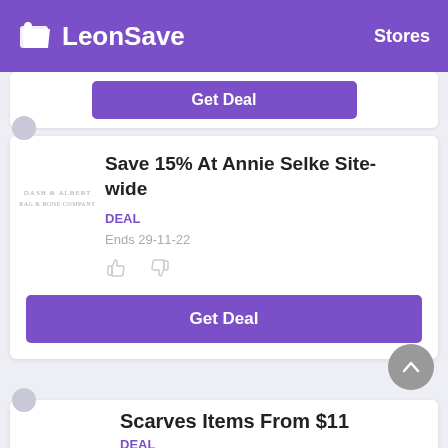LeonSave  Stores
[Figure (logo): LeonSave logo with tag icon and 'Stores' navigation link on purple header]
Get Deal
Save 15% At Annie Selke Site-wide
DEAL
Ends 29-11-22
Get Deal
Scarves Items From $11
DEAL
Ends 29-11-22